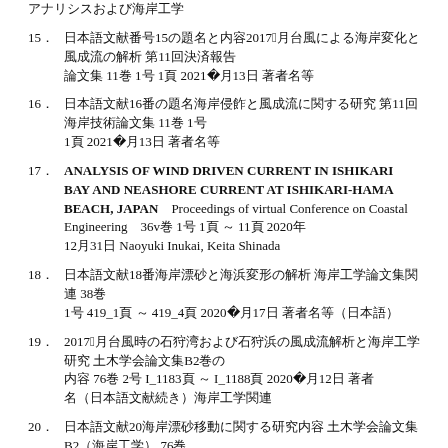（続きの参考文献リスト）
15．　（日本語文献）2017年8月台風による影響と海岸侵食について　第11回沿岸技術論文集　11巻　1号　1頁　2021年06月13日　（著者名）
16．　（日本語文献）海岸侵食と飛砂に関する研究　第11回沿岸技術論文集　11巻　1号　1頁　2021年06月13日　（著者名）
17．　ANALYSIS OF WIND DRIVEN CURRENT IN ISHIKARI BAY AND NEASHORE CURRENT AT ISHIKARI-HAMA BEACH, JAPAN　Proceedings of virtual Conference on Coastal Engineering　36v巻　1号　1頁 ～ 11頁　2020年12月31日　Naoyuki Inukai, Keita Shinada
18．　（日本語文献）石狩浜における海岸漂砂と海浜変形の研究　海岸工学論文集　38巻　1号　419_1頁 ～ 419_4頁　2020年11月17日　（著者名等）
19．　2017年8月台風時の石狩湾及び石狩浜の風成流解析　土木学会論文集B2（海岸工学）　76巻　2号　I_1183頁 ～ I_1188頁　2020年11月12日　（著者名）（日本語文献続き）
20．　石狩湾と石狩浜における漂砂移動に関する研究　土木学会論文集B2（海岸工学）　76巻　2号　I_1189頁 ～ I_1194頁　2020年11月12日　（著者名）（日本語文献続き）
21．　ANALYSIS OF WIND DRIVEN CURRENT IN ISHIKARI BAY AND NEASHORE